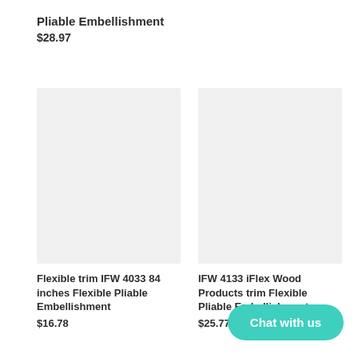Pliable Embellishment
$28.97
[Figure (photo): Product image placeholder (light gray background) for Flexible trim IFW 4033]
Flexible trim IFW 4033 84 inches Flexible Pliable Embellishment
$16.78
[Figure (photo): Product image placeholder (light gray background) for IFW 4133 iFlex Wood Products trim]
IFW 4133 iFlex Wood Products trim Flexible Pliable Embellishment
$25.77
Chat with us